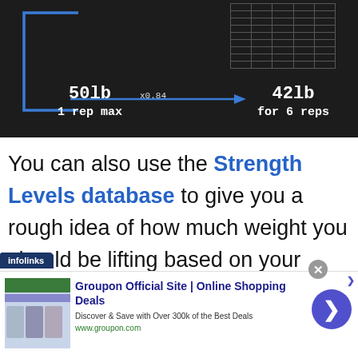[Figure (illustration): Chalkboard image showing a 1-rep max calculation: 50lb 1 rep max multiplied by x0.84 equals 42lb for 6 reps, with a blue bracket on the left and an arrow pointing right. A spreadsheet table is partially visible in the background.]
You can also use the Strength Levels database to give you a rough idea of how much weight you should be lifting based on your current bodyweight and training
[Figure (screenshot): Infolinks advertisement banner for Groupon Official Site | Online Shopping Deals. Text reads: Discover & Save with Over 300k of the Best Deals. www.groupon.com. With a thumbnail image, close button, and a blue circular arrow button.]